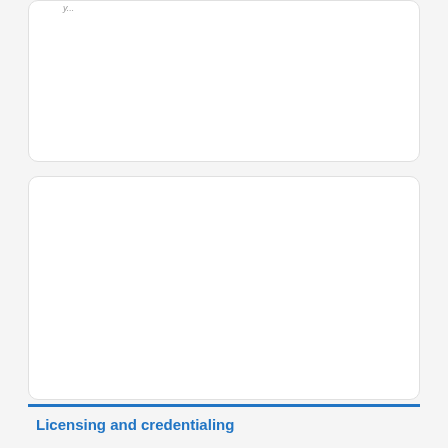[Figure (other): White rounded card panel at top of page, mostly empty with partial italic text at top-left corner]
[Figure (other): White rounded card panel, large empty content area]
Licensing and credentialing